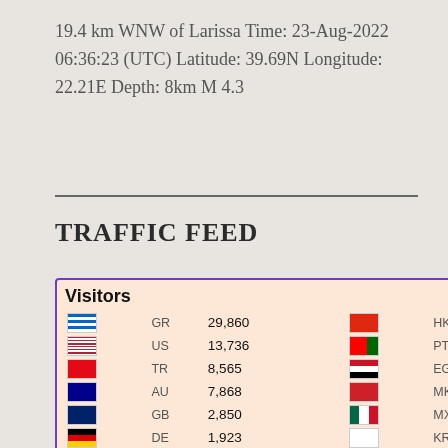19.4 km WNW of Larissa Time: 23-Aug-2022 06:36:23 (UTC) Latitude: 39.69N Longitude: 22.21E Depth: 8km M 4.3
TRAFFIC FEED
| Flag | Country | Visitors | Flag | Country | Visitors |
| --- | --- | --- | --- | --- | --- |
| GR | GR | 29,860 | HK | HK | 67 |
| US | US | 13,736 | PT | PT | 63 |
| TR | TR | 8,565 | EG | EG | 58 |
| AU | AU | 7,868 | MK | MK | 54 |
| GB | GB | 2,850 | MX | MX | 52 |
| DE | DE | 1,923 | KR | KR | 50 |
| CA | CA | 1,909 | ID | ID | 48 |
| CY | CY | 1,797 | SA | SA | 48 |
| CN | CN | 1,252 | AR | AR | 46 |
| NL | NL | 724 | SK | SK | 45 |